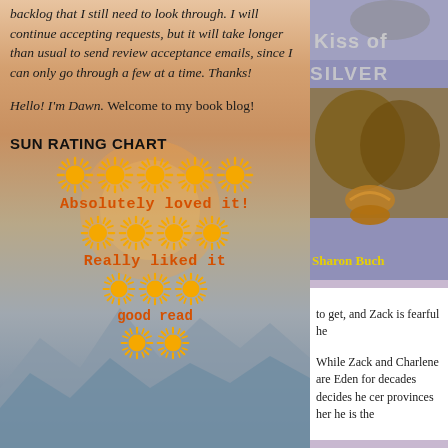backlog that I still need to look through. I will continue accepting requests, but it will take longer than usual to send review acceptance emails, since I can only go through a few at a time. Thanks!
Hello! I'm Dawn. Welcome to my book blog!
SUN RATING CHART
[Figure (infographic): Sun rating chart showing 5 suns for 'Absolutely loved it!', 4 suns for 'Really liked it', 3 suns for 'good read', and 2 suns shown for lowest visible rating, all on a sunset/mountain background]
[Figure (photo): Book cover for 'Kiss of the Silver' by Sharon Buch, showing a werewolf-like creature with a magic lamp, purple sky background]
to get, and Zack is fearful he
While Zack and Charlene are Eden for decades decides he cer provinces her he is the